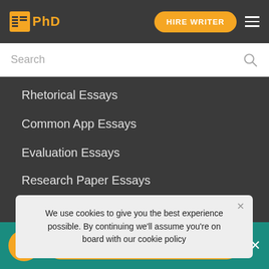EPhD | HIRE WRITER
Search
Rhetorical Essays
Common App Essays
Evaluation Essays
Research Paper Essays
Critical Essays
Process Analysis Essays
Classification Essays
Exemplification Essays
We use cookies to give you the best experience possible. By continuing we'll assume you're on board with our cookie policy
HIRE WRITER